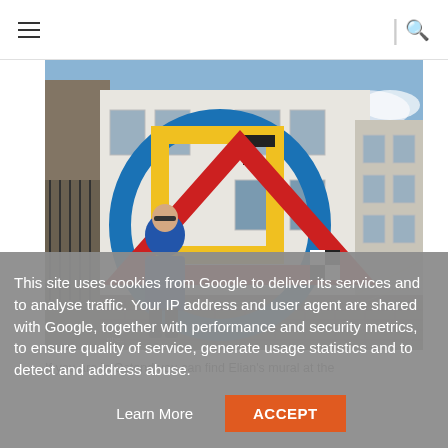navigation header with hamburger menu and search icon
[Figure (photo): Street art mural on a building in Ostend, Belgium. Large geometric shapes: a blue circle/arc, red triangle, yellow rectangle, green and black accents forming a colorful abstract mural on a white building wall. A person in a blue coat stands in front. Urban street scene with cobblestones.]
If you are in Ostend you can find Elian's mural at the
This site uses cookies from Google to deliver its services and to analyse traffic. Your IP address and user agent are shared with Google, together with performance and security metrics, to ensure quality of service, generate usage statistics and to detect and address abuse.
Learn More    ACCEPT